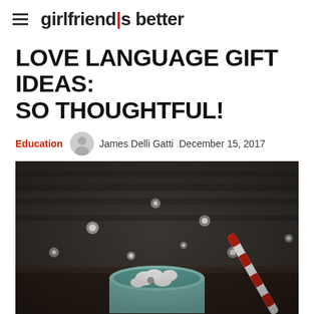girlfriend is better
LOVE LANGUAGE GIFT IDEAS: SO THOUGHTFUL!
Education  James Delli Gatti  December 15, 2017
[Figure (photo): A mug of hot chocolate with marshmallows and a red and white striped straw, set against a dark wooden background with bokeh lights]